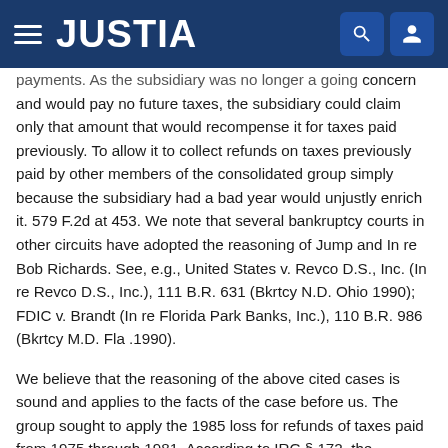JUSTIA
payments. As the subsidiary was no longer a going concern and would pay no future taxes, the subsidiary could claim only that amount that would recompense it for taxes paid previously. To allow it to collect refunds on taxes previously paid by other members of the consolidated group simply because the subsidiary had a bad year would unjustly enrich it. 579 F.2d at 453. We note that several bankruptcy courts in other circuits have adopted the reasoning of Jump and In re Bob Richards. See, e.g., United States v. Revco D.S., Inc. (In re Revco D.S., Inc.), 111 B.R. 631 (Bkrtcy N.D. Ohio 1990); FDIC v. Brandt (In re Florida Park Banks, Inc.), 110 B.R. 986 (Bkrtcy M.D. Fla .1990).
We believe that the reasoning of the above cited cases is sound and applies to the facts of the case before us. The group sought to apply the 1985 loss for refunds of taxes paid from 1975 through 1981. According to IRC § 172, the